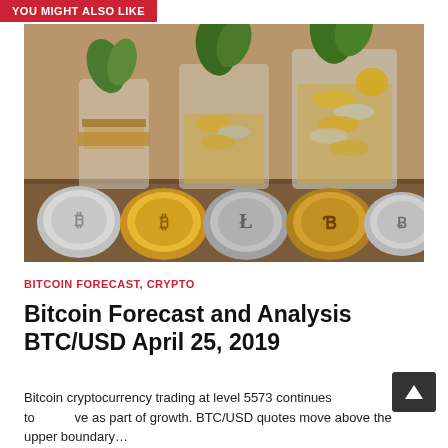YOU MIGHT ALSO LIKE
[Figure (photo): Glass jars filled with coins and plants sitting on a wooden surface, with various cryptocurrency coins (Bitcoin, Litecoin, and others) displayed in a row in the foreground on a wooden background.]
BITCOIN FORECAST, CRYPTO
Bitcoin Forecast and Analysis BTC/USD April 25, 2019
Bitcoin cryptocurrency trading at level 5573 continues to move as part of growth. BTC/USD quotes move above the upper boundary…